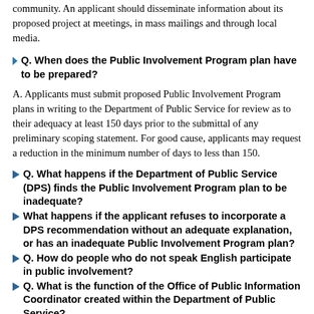community. An applicant should disseminate information about its proposed project at meetings, in mass mailings and through local media.
Q. When does the Public Involvement Program plan have to be prepared?
A. Applicants must submit proposed Public Involvement Program plans in writing to the Department of Public Service for review as to their adequacy at least 150 days prior to the submittal of any preliminary scoping statement. For good cause, applicants may request a reduction in the minimum number of days to less than 150.
Q. What happens if the Department of Public Service (DPS) finds the Public Involvement Program plan to be inadequate?
What happens if the applicant refuses to incorporate a DPS recommendation without an adequate explanation, or has an inadequate Public Involvement Program plan?
Q. How do people who do not speak English participate in public involvement?
Q. What is the function of the Office of Public Information Coordinator created within the Department of Public Service?
Q. What is the Department of Public Service?
Q. How to contact the Office of Public Information...